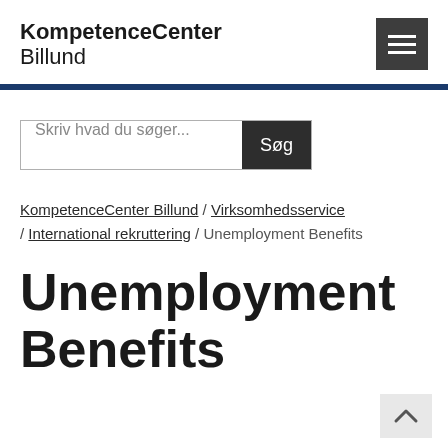KompetenceCenter Billund
Skriv hvad du søger... Søg
KompetenceCenter Billund / Virksomhedsservice / International rekruttering / Unemployment Benefits
Unemployment Benefits